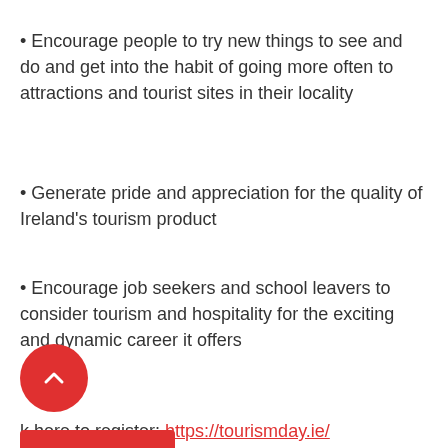• Encourage people to try new things to see and do and get into the habit of going more often to attractions and tourist sites in their locality
• Generate pride and appreciation for the quality of Ireland's tourism product
• Encourage job seekers and school leavers to consider tourism and hospitality for the exciting and dynamic career it offers
k here to register: https://tourismday.ie/